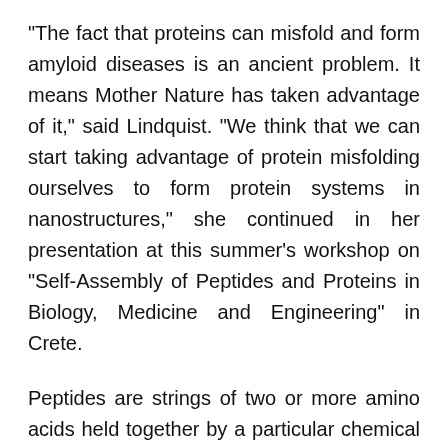"The fact that proteins can misfold and form amyloid diseases is an ancient problem. It means Mother Nature has taken advantage of it," said Lindquist. "We think that we can start taking advantage of protein misfolding ourselves to form protein systems in nanostructures," she continued in her presentation at this summer's workshop on "Self-Assembly of Peptides and Proteins in Biology, Medicine and Engineering" in Crete.
Peptides are strings of two or more amino acids held together by a particular chemical bond. Proteins are large strands of peptides linked together in an order specified by a cell's DNA. The order of linkage induces the protein to fold into specific, three-dimensional shapes that determine properties of the protein. The protein conformation also alternately...